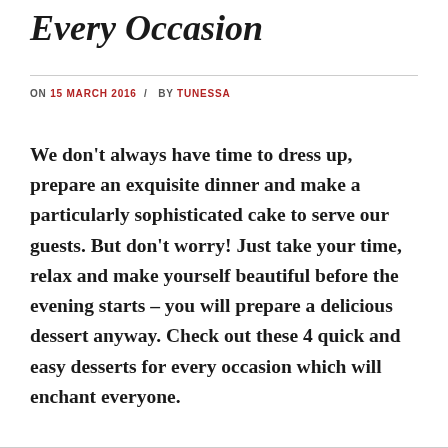Every Occasion
ON 15 MARCH 2016 / BY TUNESSA
We don’t always have time to dress up, prepare an exquisite dinner and make a particularly sophisticated cake to serve our guests. But don’t worry! Just take your time, relax and make yourself beautiful before the evening starts – you will prepare a delicious dessert anyway. Check out these 4 quick and easy desserts for every occasion which will enchant everyone.